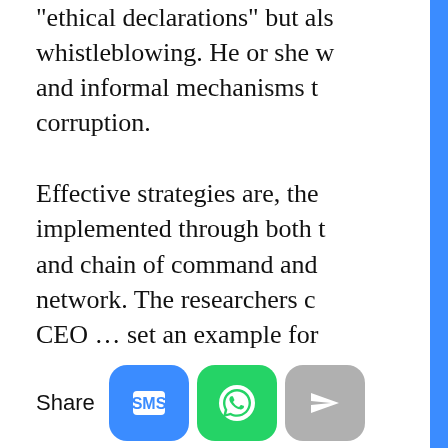“ethical declarations” but also whistleblowing. He or she w and informal mechanisms t corruption.
Effective strategies are, the implemented through both t and chain of command and network. The researchers c CEO … set an example for declared a personal commi interest among managers w affiliated vendors and supp channels and networks, he would not tolerate any diver line’, no matter how close h
your browsing experience on our website, to show you personalized content and targeted ads, to analyze our website traffic, and to understand where our visitors are coming from. By browsing our website, you consent to our use of cookies and other tracking technologies.
I agree
Change my preferences
Share